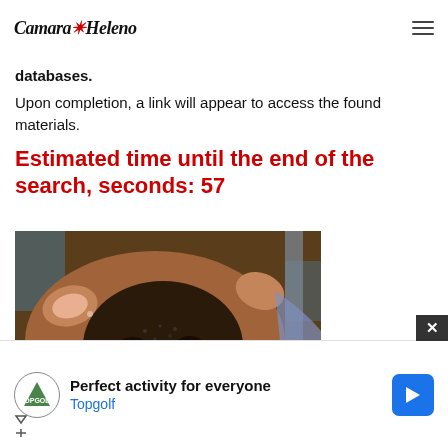Camara Heleno
databases.
Upon completion, a link will appear to access the found materials.
Estimated time until the end of the search, seconds: 57
[Figure (photo): Close-up photo of a cow's nose and face in a barn/farm setting]
Perfect activity for everyone
Topgolf